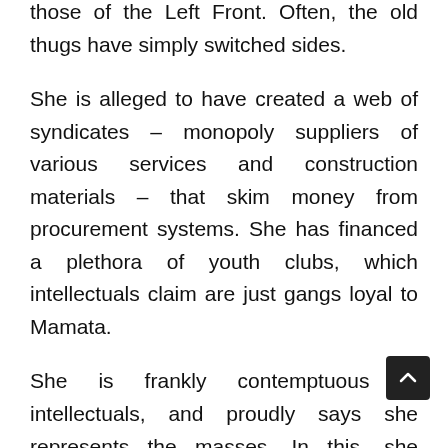those of the Left Front. Often, the old thugs have simply switched sides.
She is alleged to have created a web of syndicates – monopoly suppliers of various services and construction materials – that skim money from procurement systems. She has financed a plethora of youth clubs, which intellectuals claim are just gangs loyal to Mamata.
She is frankly contemptuous of intellectuals, and proudly says she represents the masses. In this, she resembles Lalu Yadav, who in Bihar spent 15 years empowering backward castes at the expense of the upper-caste